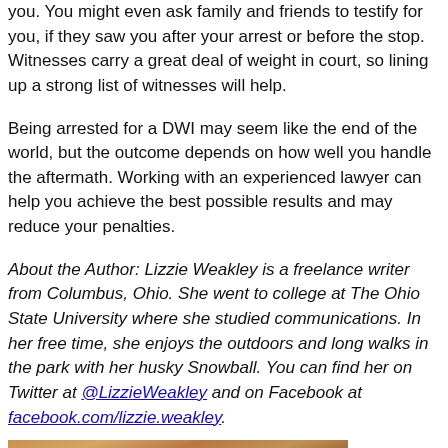you. You might even ask family and friends to testify for you, if they saw you after your arrest or before the stop. Witnesses carry a great deal of weight in court, so lining up a strong list of witnesses will help.
Being arrested for a DWI may seem like the end of the world, but the outcome depends on how well you handle the aftermath. Working with an experienced lawyer can help you achieve the best possible results and may reduce your penalties.
About the Author: Lizzie Weakley is a freelance writer from Columbus, Ohio. She went to college at The Ohio State University where she studied communications. In her free time, she enjoys the outdoors and long walks in the park with her husky Snowball. You can find her on Twitter at @LizzieWeakley and on Facebook at facebook.com/lizzie.weakley.
[Figure (photo): Partial photo of a person, cropped at bottom of page]